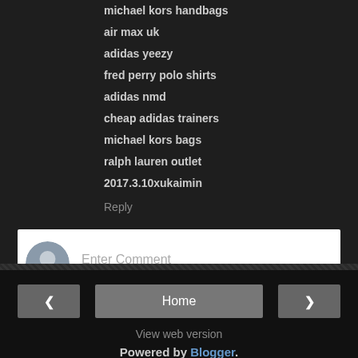michael kors handbags
air max uk
adidas yeezy
fred perry polo shirts
adidas nmd
cheap adidas trainers
michael kors bags
ralph lauren outlet
2017.3.10xukaimin
Reply
Enter Comment
< Home > View web version Powered by Blogger.